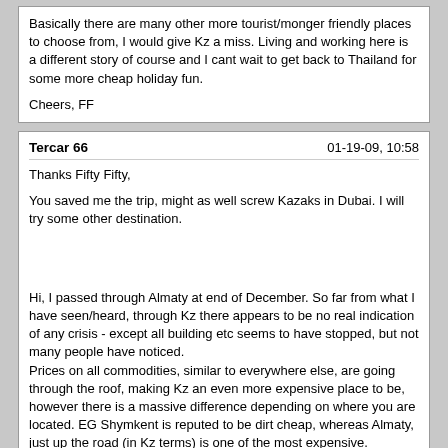Basically there are many other more tourist/monger friendly places to choose from, I would give Kz a miss. Living and working here is a different story of course and I cant wait to get back to Thailand for some more cheap holiday fun.

Cheers, FF
Tercar 66 | 01-19-09, 10:58

Thanks Fifty Fifty,

You saved me the trip, might as well screw Kazaks in Dubai. I will try some other destination.

Hi, I passed through Almaty at end of December. So far from what I have seen/heard, through Kz there appears to be no real indication of any crisis - except all building etc seems to have stopped, but not many people have noticed.
Prices on all commodities, similar to everywhere else, are going through the roof, making Kz an even more expensive place to be, however there is a massive difference depending on where you are located. EG Shymkent is reputed to be dirt cheap, whereas Almaty, just up the road (in Kz terms) is one of the most expensive.
Hotels have not dropped prices and deals are relatively unheard of, in fact the reverse will probably happen here - They will raise prices in order to maintain revenue levels in the short term, just like the girls in certain (expensive) Almaty nightclubs too !!

There are reports of a possible countrywide food shortage which has pushed prices upwards even more quickly, so taking a shop girl or a waitress out for a meal could prove more expensive too.

Basically there are many other more tourist/monger friendly places to choose